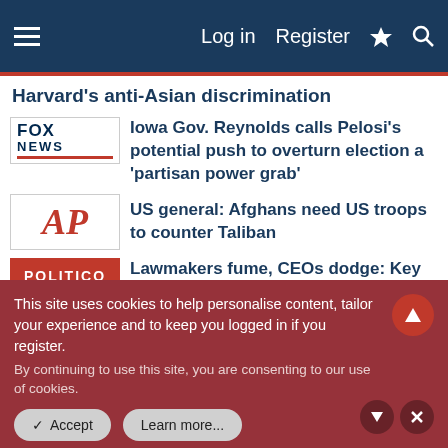Log in  Register
Harvard's anti-Asian discrimination
Iowa Gov. Reynolds calls Pelosi's potential push to overturn election a 'partisan power grab'
US general: Afghans need US troops to counter Taliban
Lawmakers fume, CEOs dodge: Key moments from tech's latest grilling in Congress
Fact check: Breaking down 10 claims about the Democrats' elections bill
U.S. adding 16,000 emergency beds for
This site uses cookies to help personalise content, tailor your experience and to keep you logged in if you register.
By continuing to use this site, you are consenting to our use of cookies.